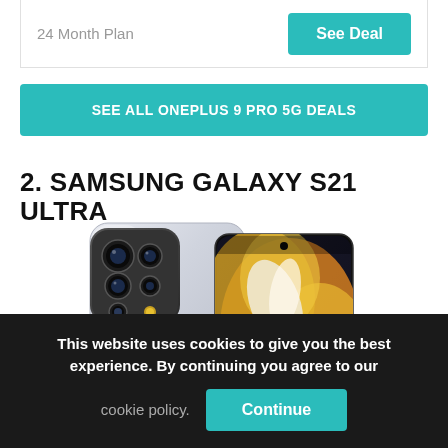24 Month Plan
See Deal
SEE ALL ONEPLUS 9 PRO 5G DEALS
2. SAMSUNG GALAXY S21 ULTRA
[Figure (photo): Samsung Galaxy S21 Ultra smartphone shown from two angles: back showing quad-camera array in silver/chrome color, and front showing the display with artistic wallpaper in gold/orange tones.]
This website uses cookies to give you the best experience. By continuing you agree to our cookie policy.
Continue